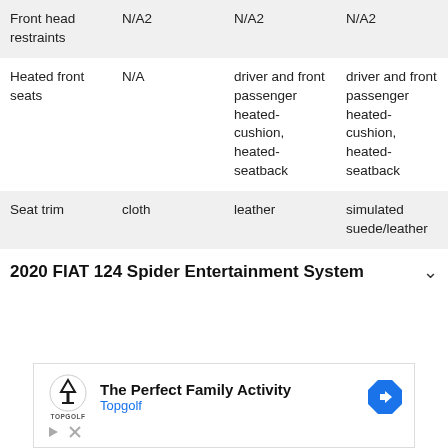| Feature | Trim 1 | Trim 2 | Trim 3 |
| --- | --- | --- | --- |
| Front head restraints | N/A2 | N/A2 | N/A2 |
| Heated front seats | N/A | driver and front passenger heated-cushion, heated-seatback | driver and front passenger heated-cushion, heated-seatback |
| Seat trim | cloth | leather | simulated suede/leather |
2020 FIAT 124 Spider Entertainment System
[Figure (screenshot): Advertisement banner for Topgolf - The Perfect Family Activity, with Topgolf logo, navigation arrow icon, play and close controls.]